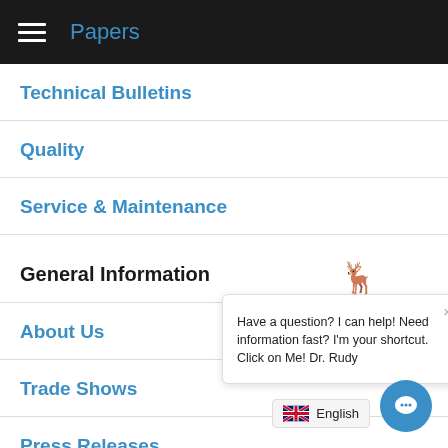Papers
Technical Bulletins
Quality
Service & Maintenance
General Information
About Us
Trade Shows
Press Releases
Customers/Industries
[Figure (screenshot): Chat popup with reindeer mascot Dr. Rudy saying: Have a question? I can help! Need information fast? I'm your shortcut. Click on Me! Dr. Rudy]
English
[Figure (other): Blue circular chat button with speech bubble icon]